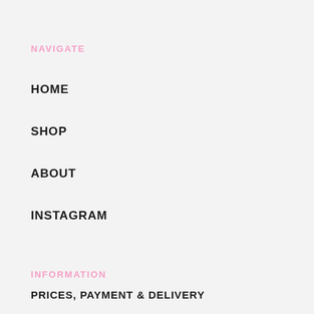NAVIGATE
HOME
SHOP
ABOUT
INSTAGRAM
INFORMATION
PRICES, PAYMENT & DELIVERY